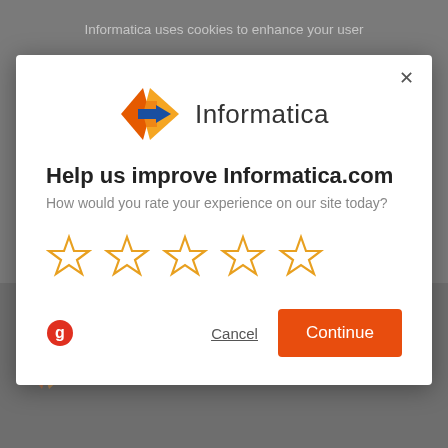Informatica uses cookies to enhance your user
[Figure (screenshot): Informatica website feedback modal dialog with logo, star rating, Cancel and Continue buttons on a grey dimmed background]
Help us improve Informatica.com
How would you rate your experience on our site today?
[Figure (illustration): Five empty/outline star rating icons in orange]
Cancel
Continue